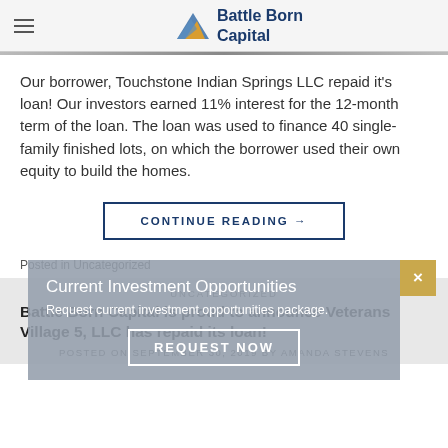Battle Born Capital
Our borrower, Touchstone Indian Springs LLC repaid it's loan! Our investors earned 11% interest for the 12-month term of the loan. The loan was used to finance 40 single-family finished lots, on which the borrower used their own equity to build the homes.
CONTINUE READING →
Posted in Uncategorized
UNCATEGORIZED
Battle Born Capital is proud to announce Veterans Village 5, LLC has repaid its loan!
POSTED ON SEPTEMBER 30, 2019 BY AMANDA STEVENS
Current Investment Opportunities
Request current investment opportunities package.
REQUEST NOW